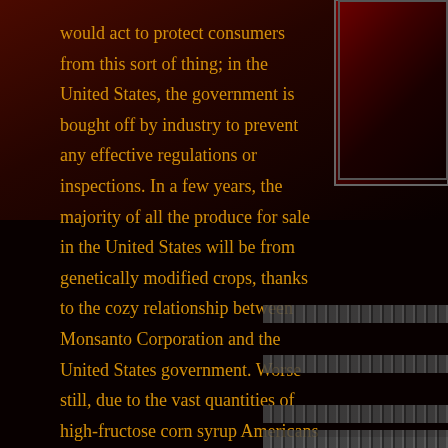[Figure (photo): Dark reddish-brown atmospheric background image in upper portion of page, with a framed image in the top-right corner showing dark red tones]
would act to protect consumers from this sort of thing; in the United States, the government is bought off by industry to prevent any effective regulations or inspections. In a few years, the majority of all the produce for sale in the United States will be from genetically modified crops, thanks to the cozy relationship between Monsanto Corporation and the United States government. Worse still, due to the vast quantities of high-fructose corn syrup Americans consume, fully one-third of children born in the United States today will be diagnosed with Type 2 diabetes at some point in their lives.